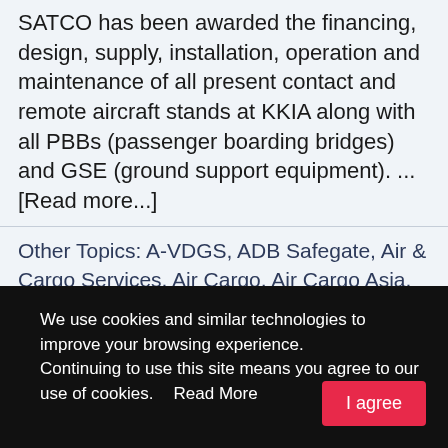SATCO has been awarded the financing, design, supply, installation, operation and maintenance of all present contact and remote aircraft stands at KKIA along with all PBBs (passenger boarding bridges) and GSE (ground support equipment). ... [Read more...]
Other Topics: A-VDGS, ADB Safegate, Air & Cargo Services, Air Cargo, Air Cargo Asia, Air Cargo Freight, Air Forwarding, Air Freight, Air Freight Asia, Air Freight Logistics, Air Freighter, Air Freighting, Air Logistics Asia, Air Shipping Asia, Airlines
We use cookies and similar technologies to improve your browsing experience.
Continuing to use this site means you agree to our use of cookies.    Read More